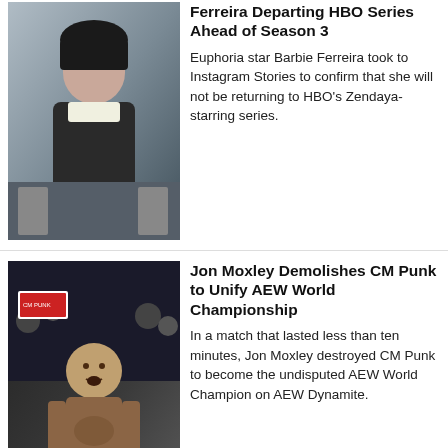[Figure (photo): Photo of Barbie Ferreira, a young woman with short dark hair wearing a white graphic t-shirt and dark corset, in a school hallway setting from the HBO show Euphoria.]
Ferreira Departing HBO Series Ahead of Season 3
Euphoria star Barbie Ferreira took to Instagram Stories to confirm that she will not be returning to HBO's Zendaya-starring series.
[Figure (photo): Photo of Jon Moxley, a professional wrestler, shirtless and intense-looking in a wrestling arena with crowd and signs in the background.]
Jon Moxley Demolishes CM Punk to Unify AEW World Championship
In a match that lasted less than ten minutes, Jon Moxley destroyed CM Punk to become the undisputed AEW World Champion on AEW Dynamite.
Thunder Rosa Out of All